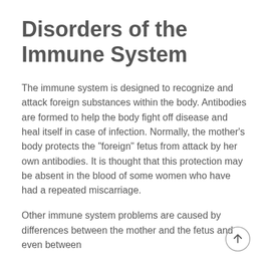Disorders of the Immune System
The immune system is designed to recognize and attack foreign substances within the body. Antibodies are formed to help the body fight off disease and heal itself in case of infection. Normally, the mother’s body protects the “foreign” fetus from attack by her own antibodies. It is thought that this protection may be absent in the blood of some women who have had a repeated miscarriage.
Other immune system problems are caused by differences between the mother and the fetus and even between